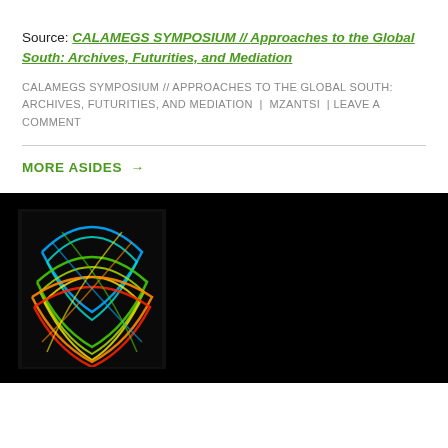Source: CALAMEGS SYMPOSIUM // Approaches to the Global South: Archives, Futurities, and Mediation
CALAMEGS SYMPOSIUM // APPROACHES TO THE GLOBAL SOUTH: ARCHIVES, FUTURITIES, AND MEDIATION | MZANTSI | LEAVE A COMMENT
MORE ASIDES →
[Figure (illustration): Colorful swirling lines forming a globe-like shape on a black background — appears to be a logo or artistic illustration with blue, green, orange, yellow, and red curved lines.]